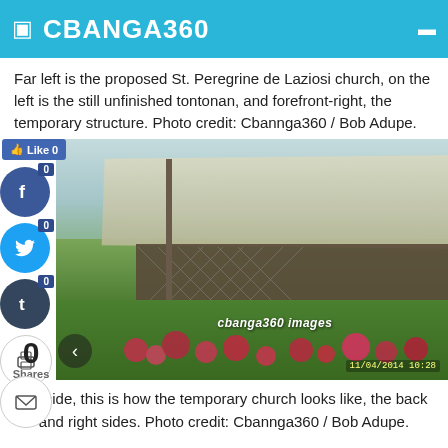CBANGA360
Far left is the proposed St. Peregrine de Laziosi church, on the left is the still unfinished tontonan, and forefront-right, the temporary structure. Photo credit: Cbannga360 / Bob Adupe.
[Figure (photo): Outdoor photo of a temporary church structure with corrugated metal roof, lattice fencing, colorful flowers in foreground, trees and wires visible. Watermark reads 'cbanga360 images'. Timestamp bottom right: 11/04/2014 10:28.]
Outside, this is how the temporary church looks like, the back and right sides. Photo credit: Cbannga360 / Bob Adupe.